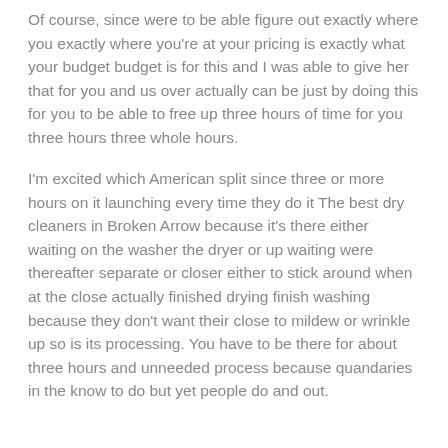Of course, since were to be able figure out exactly where you exactly where you're at your pricing is exactly what your budget budget is for this and I was able to give her that for you and us over actually can be just by doing this for you to be able to free up three hours of time for you three hours three whole hours.
I'm excited which American split since three or more hours on it launching every time they do it The best dry cleaners in Broken Arrow because it's there either waiting on the washer the dryer or up waiting were thereafter separate or closer either to stick around when at the close actually finished drying finish washing because they don't want their close to mildew or wrinkle up so is its processing. You have to be there for about three hours and unneeded process because quandaries in the know to do but yet people do and out.